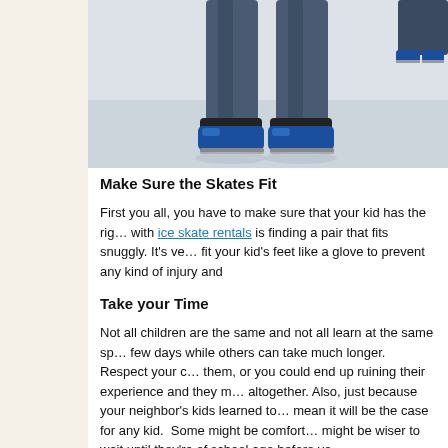[Figure (photo): Close-up photo of a person's legs wearing blue jeans and blue ice skates on ice, with another skater visible in the background top right.]
Make Sure the Skates Fit
First you all, you have to make sure that your kid has the right skates. The main problem with ice skate rentals is finding a pair that fits snuggly. It's very important that skates fit your kid's feet like a glove to prevent any kind of injury and
Take your Time
Not all children are the same and not all learn at the same speed. Some might learn in a few days while others can take much longer. Respect your child's pace and never pressure them, or you could end up ruining their experience and they might want to stop skating altogether. Also, just because your neighbor's kids learned to skate at a certain age doesn't mean it will be the case for any kid. Some might be comfortable at a young age while others might be wiser to wait until they're of school age before you